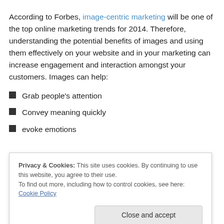According to Forbes, image-centric marketing will be one of the top online marketing trends for 2014. Therefore, understanding the potential benefits of images and using them effectively on your website and in your marketing can increase engagement and interaction amongst your customers. Images can help:
Grab people's attention
Convey meaning quickly
evoke emotions
Privacy & Cookies: This site uses cookies. By continuing to use this website, you agree to their use. To find out more, including how to control cookies, see here: Cookie Policy
format (think infographics)